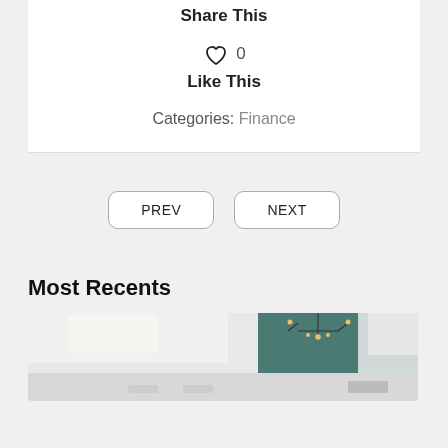Share This
♡ 0
Like This
Categories: Finance
PREV
NEXT
Most Recents
[Figure (photo): Interior room photo showing a modern space with pendant light fixture and green/teal accent wall]